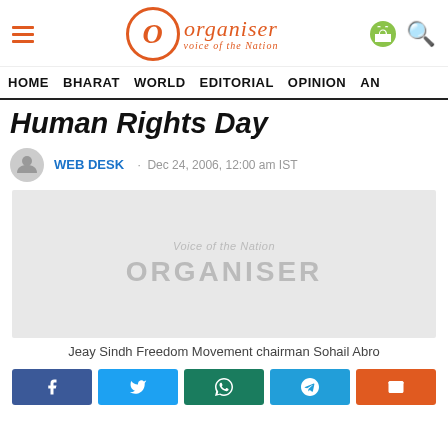Organiser - Voice of the Nation
HOME  BHARAT  WORLD  EDITORIAL  OPINION  ANA...
Human Rights Day
WEB DESK · Dec 24, 2006, 12:00 am IST
[Figure (photo): Organiser placeholder image with watermark text 'Voice of the Nation' and 'ORGANISER']
Jeay Sindh Freedom Movement chairman Sohail Abro